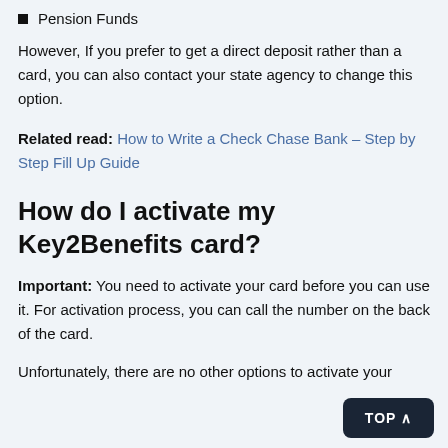Pension Funds
However, If you prefer to get a direct deposit rather than a card, you can also contact your state agency to change this option.
Related read: How to Write a Check Chase Bank – Step by Step Fill Up Guide
How do I activate my Key2Benefits card?
Important: You need to activate your card before you can use it. For activation process, you can call the number on the back of the card.
Unfortunately, there are no other options to activate your